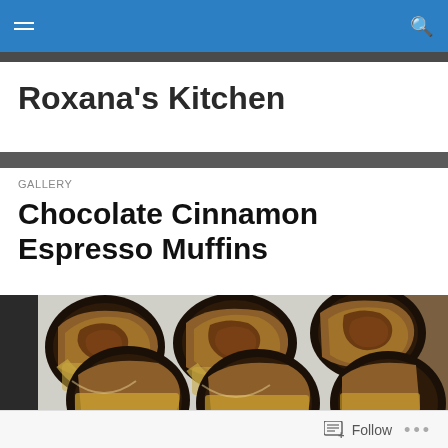Roxana's Kitchen
Roxana's Kitchen
GALLERY
Chocolate Cinnamon Espresso Muffins
[Figure (photo): Six chocolate cinnamon espresso muffins in dark round tins with parchment paper liners, viewed from above on a light surface]
Follow ...